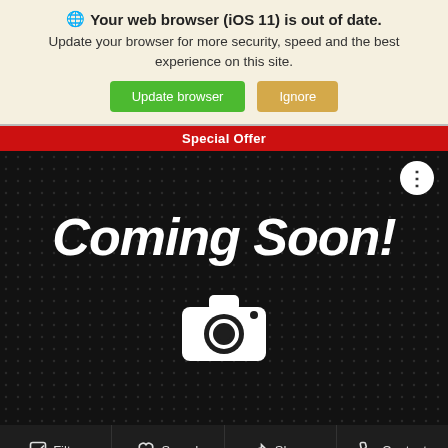Your web browser (iOS 11) is out of date.
Update your browser for more security, speed and the best experience on this site.
Update browser  Ignore
Special Offer
[Figure (screenshot): Coming Soon! placeholder image with camera icon on dark checkered background, with three-dots menu button in top-right corner]
Filter  Saved  Share  Contact